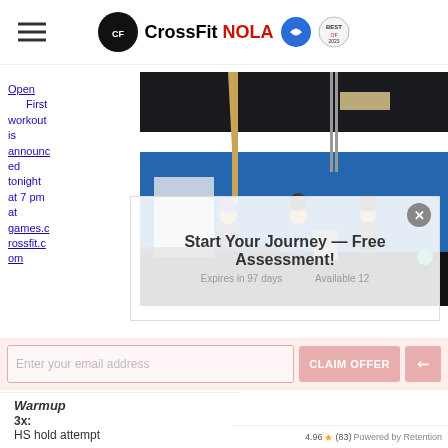CrossFit NOLA
Open First workout is announced tonight at 7 pm at games.crossfit.com
[Figure (photo): Gym interior with blue walls, hanging ropes and rings, three athletes performing wall ball squats with medicine balls]
Start Your Journey — Free Assessment! Expires in 97 days Available 12
CLAIM OFFER
Warmup
3x:
HS hold attempt
4.96 ★ (83) Powered by Retention